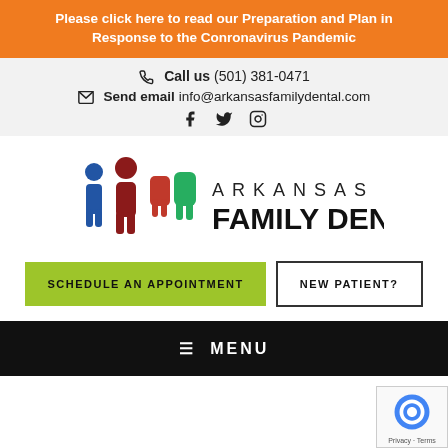Please click here to read our Preparation and Plan in Response to the Conronavirus Pandemic
Call us (501) 381-0471
Send email info@arkansasfamilydental.com
[Figure (logo): Arkansas Family Dental logo with colorful family figures and tooth icons beside the text ARKANSAS FAMILY DENTAL]
SCHEDULE AN APPOINTMENT
NEW PATIENT?
≡ MENU